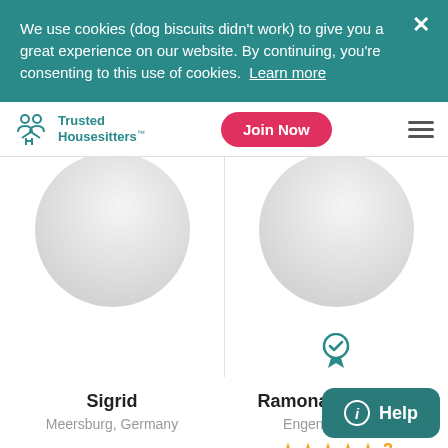We use cookies (dog biscuits didn't work) to give you a great experience on our website. By continuing, you're consenting to this use of cookies. Learn more
[Figure (logo): Trusted Housesitters logo with teal house/people icon and teal text]
Join Now
[Figure (photo): Circular avatar placeholder for Sigrid]
Sigrid
Meersburg, Germany
[Figure (photo): Circular avatar placeholder for Ramona & Joshua with verified badge]
Ramona & Joshua
Engen, Germany
★★★★★ 2
ⓘ Help